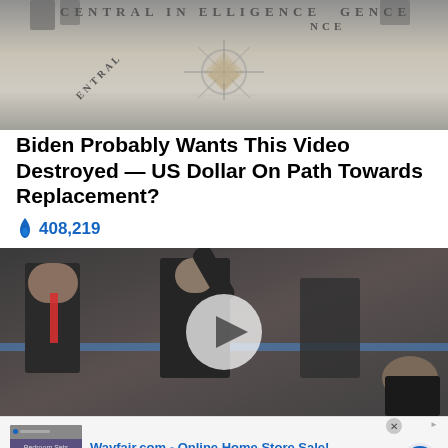[Figure (photo): CIA headquarters lobby floor with seal and lettering]
Biden Probably Wants This Video Destroyed — US Dollar On Path Towards Replacement?
🔥 408,219
[Figure (photo): Video thumbnail showing men in black suits at an outdoor event with a play button overlay]
[Figure (screenshot): Wayfair.com advertisement banner: Online Home Store Sale! Shop for A Zillion Things Home across all styles at Wayfair! www.wayfair.com]